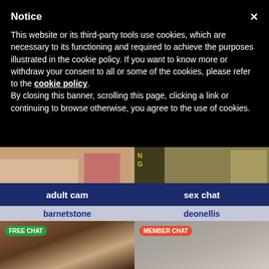Notice
This website or its third-party tools use cookies, which are necessary to its functioning and required to achieve the purposes illustrated in the cookie policy. If you want to know more or withdraw your consent to all or some of the cookies, please refer to the cookie policy.
By closing this banner, scrolling this page, clicking a link or continuing to browse otherwise, you agree to the use of cookies.
[Figure (photo): Two side-by-side adult cam thumbnail images at top]
adult cam
sex chat
barnetstone
deonellis
[Figure (photo): Left thumbnail with FREE CHAT badge showing a person lying on a sofa]
[Figure (photo): Right thumbnail with MEMBER CHAT badge showing a man holding phone to ear]